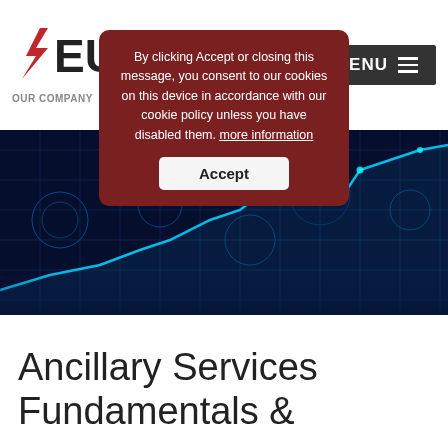[Figure (logo): EUCI logo with red lightning bolt and text EUCI]
OUR COMPANY   VOLUME PRICING
MENU
By clicking Accept or closing this message, you consent to our cookies on this device in accordance with our cookie policy unless you have disabled them. more information Accept
[Figure (photo): Dark blue digital city grid with glowing blue network lines and financial chart overlay]
Ancillary Services Fundamentals &